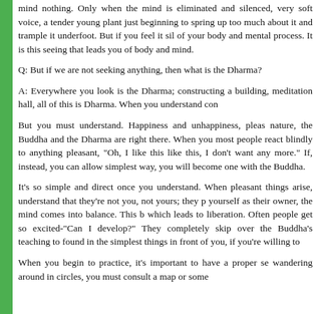mind nothing. Only when the mind is eliminated and silenced, very soft voice, a tender young plant just beginning to spring up too much about it and trample it underfoot. But if you feel it sil of your body and mental process. It is this seeing that leads you of body and mind.
Q: But if we are not seeking anything, then what is the Dharma?
A: Everywhere you look is the Dharma; constructing a building, meditation hall, all of this is Dharma. When you understand con
But you must understand. Happiness and unhappiness, pleas nature, the Buddha and the Dharma are right there. When you most people react blindly to anything pleasant, "Oh, I like this like this, I don't want any more." If, instead, you can allow simplest way, you will become one with the Buddha.
It's so simple and direct once you understand. When pleasant things arise, understand that they're not you, not yours; they p yourself as their owner, the mind comes into balance. This b which leads to liberation. Often people get so excited-"Can I develop?" They completely skip over the Buddha's teaching to found in the simplest things in front of you, if you're willing to
When you begin to practice, it's important to have a proper se wandering around in circles, you must consult a map or some